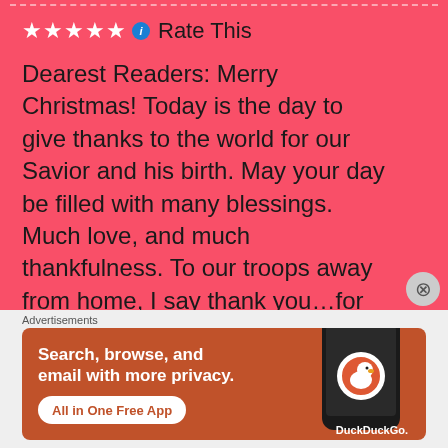[Figure (other): Five white star rating icons followed by a blue info icon and the text 'Rate This' on a red/coral background]
Dearest Readers: Merry Christmas! Today is the day to give thanks to the world for our Savior and his birth. May your day be filled with many blessings. Much love, and much thankfulness. To our troops away from home, I say thank you…for your service to our Country…thank you for dedicating your life to the …
Advertisements
[Figure (screenshot): DuckDuckGo advertisement banner on orange-brown background. Text: 'Search, browse, and email with more privacy. All in One Free App'. Shows a phone with the DuckDuckGo logo and branding.]